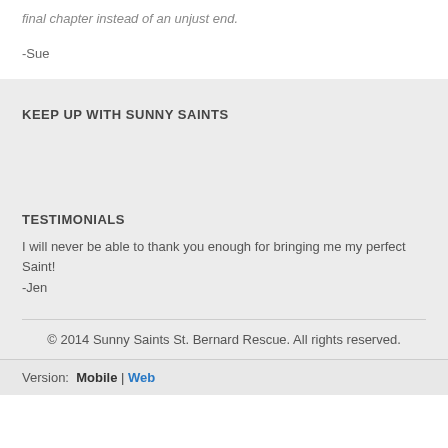final chapter instead of an unjust end.
-Sue
KEEP UP WITH SUNNY SAINTS
TESTIMONIALS
I will never be able to thank you enough for bringing me my perfect Saint! -Jen
© 2014 Sunny Saints St. Bernard Rescue. All rights reserved.
Version: Mobile | Web